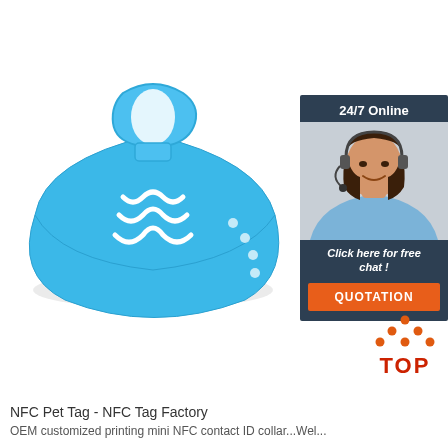[Figure (photo): Blue silicone NFC wristband/bracelet with white chevron logo and adjustment holes, photographed on white background]
[Figure (infographic): 24/7 Online chat widget showing a female customer service agent wearing a headset, with 'Click here for free chat!' text and orange QUOTATION button]
[Figure (logo): TOP icon with orange dots arranged in triangle above the word TOP in red/orange]
NFC Pet Tag - NFC Tag Factory
OEM customized printing mini NFC contact ID collar...Wel...